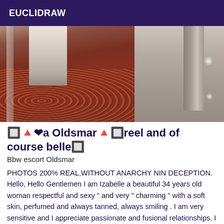EUCLIDRAW
[Figure (photo): A photograph showing what appears to be a decorative red/brown patterned carpet floor, a white cloth or garment, and a glass door or mirror on the right side with light reflections.]
🔲🔺❤a Oldsmar🔺🔲reel and of course belle🔲
Bbw escort Oldsmar
PHOTOS 200% REAL,WITHOUT ANARCHY NIN DECEPTION. Hello, Hello Gentlemen I am Izabelle a beautiful 34 years old woman respectful and sexy " and very " charming " with a soft skin, perfumed and always tanned, always smiling . I am very sensitive and I appreciate passionate and fusional relationships. I like to